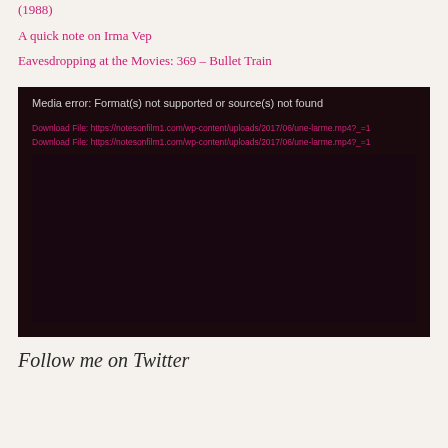(1988)
A quick note on Irma Vep
Eavesdropping at the Movies: 369 – Bullet Train
[Figure (screenshot): Media player error box with dark background showing: 'Media error: Format(s) not supported or source(s) not found' and two download file links to https://notesonfilm1.com/wp-content/uploads/2017/06/une-larme.mp4?_=1]
Follow me on Twitter